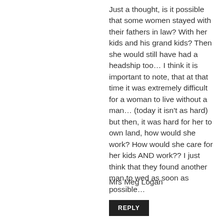Just a thought, is it possible that some women stayed with their fathers in law? With her kids and his grand kids? Then she would still have had a headship too… I think it is important to note, that at that time it was extremely difficult for a woman to live without a man… (today it isn't as hard) but then, it was hard for her to own land, how would she work? How would she care for her kids AND work?? I just think that they found another man to wed as soon as possible…
Mrs Meg Logan
REPLY